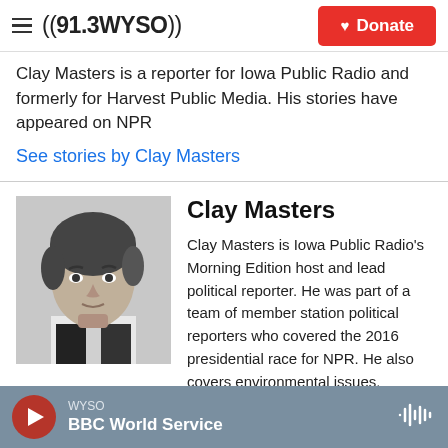((91.3 WYSO)) | Donate
Clay Masters is a reporter for Iowa Public Radio and formerly for Harvest Public Media. His stories have appeared on NPR
See stories by Clay Masters
[Figure (photo): Black and white headshot photo of Clay Masters]
Clay Masters
Clay Masters is Iowa Public Radio's Morning Edition host and lead political reporter. He was part of a team of member station political reporters who covered the 2016 presidential race for NPR. He also covers environmental issues.
WYSO | BBC World Service